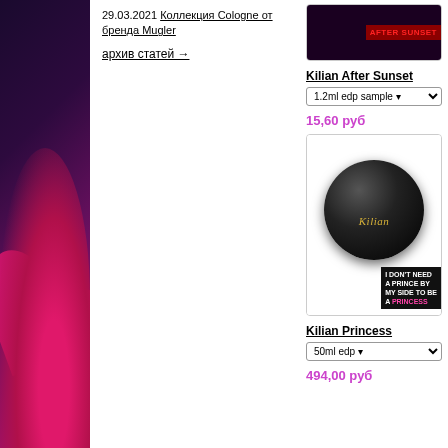[Figure (photo): Left sidebar with dark purple background and bright pink/magenta orchid flowers]
29.03.2021 Коллекция Cologne от бренда Mugler
архив статей →
[Figure (photo): Kilian After Sunset product image with dark background and red AFTER SUNSET text]
Kilian After Sunset
1.2ml edp sample
15,60 руб
[Figure (photo): Kilian Princess product - black spherical perfume bottle with gold Kilian script logo, and I DON'T NEED A PRINCE BY MY SIDE TO BE A PRINCESS label]
Kilian Princess
50ml edp
494,00 руб